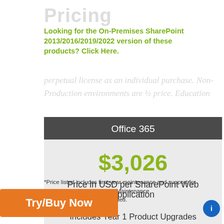Pricing
Looking for the On-Premises SharePoint 2013/2016/2019/2022 version of these products? Click Here.
perpetual license as an individual purchase. Non-Production environments are ½ price. Education
| Office 365 |
| --- |
| $3,026 |
| Price in USD per SharePoint Web Application |
| Includes Year 1 Product Upgrades and Support* |
*Price listed includes first-year maintenance and support for ,000 users. Year 2 Software Maintenance ulated as 22% of the price listed.